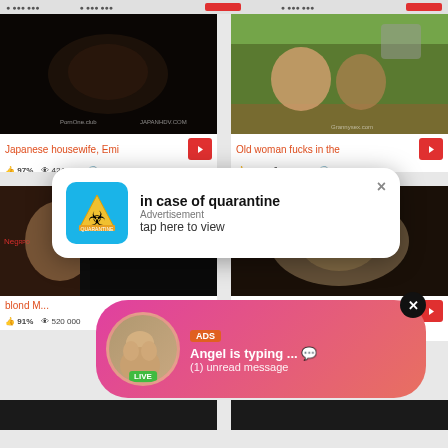[Figure (screenshot): Adult video thumbnail grid screenshot with two ad overlays. Top-left: Japanese adult video thumbnail with title 'Japanese housewife, Emi', 97% rating, 424 671 views, 5:00 duration. Top-right: adult video thumbnail with title 'Old woman fucks in the', 81% rating, 462 119 views, 6:00 duration. Bottom-left partial: 'blond M...' video, 91% rating, 520 000 views. Overlay 1: white rounded popup 'in case of quarantine / Advertisement / tap here to view' with biohazard warning icon. Overlay 2: pink/red gradient chat notification 'ADS / Angel is typing ... / (1) unread message' with avatar and LIVE badge.]